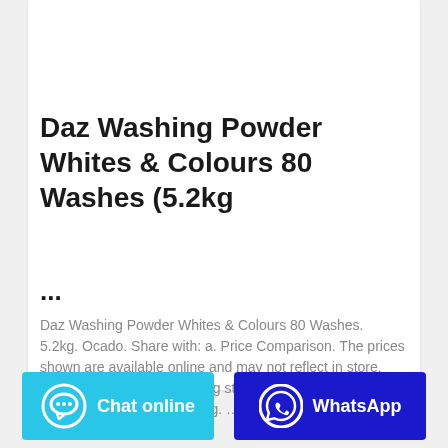[Figure (photo): Product image of Daz Washing Powder orange bag against grey background]
Daz Washing Powder Whites & Colours 80 Washes (5.2kg
...
Daz Washing Powder Whites & Colours 80 Washes. 5.2kg. Ocado. Share with: a. Price Comparison. The prices shown are available online and may not reflect in store. Confirm prices before visiting store. £7.90. £0.15 per 100g. VISIT. £8.00. £0.15 per 100g. ...
Chat online
WhatsApp